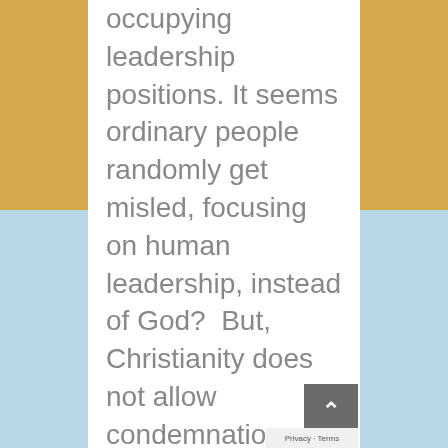occupying leadership positions. It seems ordinary people randomly get misled, focusing on human leadership, instead of God?  But, Christianity does not allow condemnation of bad leaders, whether heretics, sceptics or patent sinners alike. My view is that the duty of Christians is to make a difference, wherever found necessary. This is what makes my